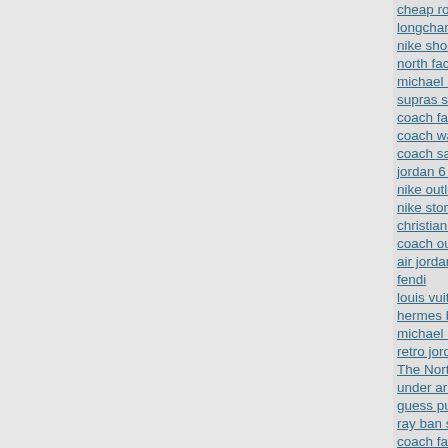cheap rolex watches
longchamp
nike shoes
north face outlet store
michael kors tote
supras shoes
coach factory outlet
coach wallets outlet
coach sale
jordan 6 black infrared
nike outlet
nike stores
christian louboutin sale
coach outlet online
air jordan 11
fendi
louis vuitton belt
hermes birkin
michael kors handbags ou
retro jordans
The North Face Outlet
under armour clearance
guess purses
ray ban sunglasses
coach factory outlet
nfl jerseys cheap authenti
cheap michael kors handb
oakley sunglasses
jordan 11
salvatore ferragamo belt
louboutin shoes
converse sale
lacoste shoes
oakley sunglasses outlet
christian louboutin shoes
North Face Outlet Locatio
gucci outlet
michael kors outlet